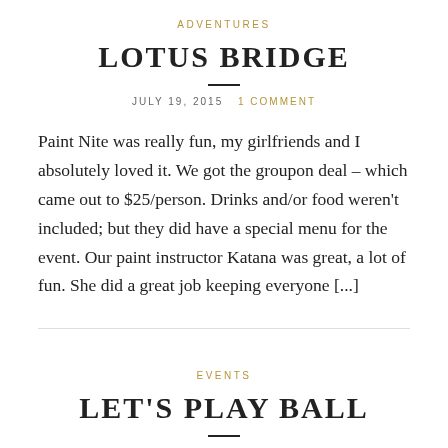ADVENTURES
LOTUS BRIDGE
JULY 19, 2015   1 COMMENT
Paint Nite was really fun, my girlfriends and I absolutely loved it. We got the groupon deal – which came out to $25/person. Drinks and/or food weren't included; but they did have a special menu for the event. Our paint instructor Katana was great, a lot of fun. She did a great job keeping everyone [...]
EVENTS
LET'S PLAY BALL